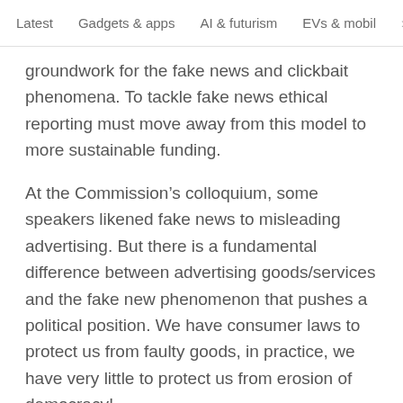Latest   Gadgets & apps   AI & futurism   EVs & mobil  >
groundwork for the fake news and clickbait phenomena. To tackle fake news ethical reporting must move away from this model to more sustainable funding.
At the Commission’s colloquium, some speakers likened fake news to misleading advertising. But there is a fundamental difference between advertising goods/services and the fake new phenomenon that pushes a political position. We have consumer laws to protect us from faulty goods, in practice, we have very little to protect us from erosion of democracy!
The Center for Democracy and Technology pointed